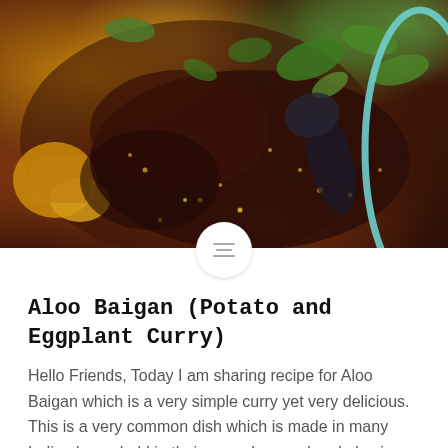[Figure (photo): Close-up photo of Aloo Baigan (Potato and Eggplant Curry) in a teal bowl, showing dark brown curry with visible seeds, green cilantro/herbs, yellow potato pieces, and eggplant pieces]
Aloo Baigan (Potato and Eggplant Curry)
Hello Friends, Today I am sharing recipe for Aloo Baigan which is a very simple curry yet very delicious. This is a very common dish which is made in many Indian household in their everyday meal and also is part of my menu in my home. It is super quick and easy. I am also...